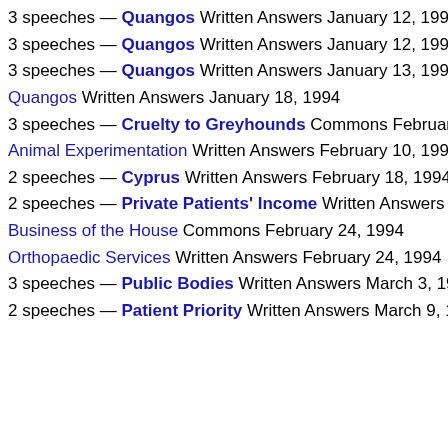3 speeches — Quangos Written Answers January 12, 1994
3 speeches — Quangos Written Answers January 12, 1994
3 speeches — Quangos Written Answers January 13, 1994
Quangos Written Answers January 18, 1994
3 speeches — Cruelty to Greyhounds Commons February 7
Animal Experimentation Written Answers February 10, 1994
2 speeches — Cyprus Written Answers February 18, 1994
2 speeches — Private Patients' Income Written Answers Feb
Business of the House Commons February 24, 1994
Orthopaedic Services Written Answers February 24, 1994
3 speeches — Public Bodies Written Answers March 3, 1994
2 speeches — Patient Priority Written Answers March 9, 1994